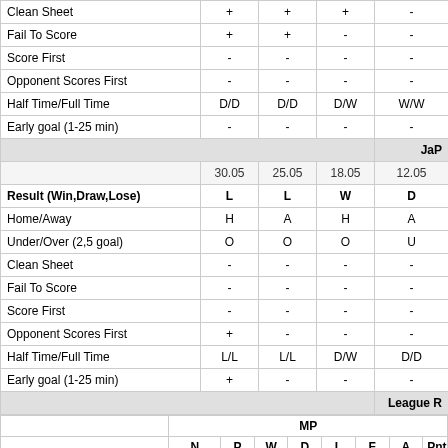|  | 30.05 | 25.05 | 18.05 | 12.05 |
| --- | --- | --- | --- | --- |
| Clean Sheet | + | + | + | - |
| Fail To Score | + | + | - | - |
| Score First | - | - | - | - |
| Opponent Scores First | - | - | - | - |
| Half Time/Full Time | D/D | D/D | D/W | W/W |
| Early goal (1-25 min) | - | - | - | - |
| JaP section header |  |  |  |  |
|  | 30.05 | 25.05 | 18.05 | 12.05 |
| Result (Win,Draw,Lose) | L | L | W | D |
| Home/Away | H | A | H | A |
| Under/Over (2,5 goal) | O | O | O | U |
| Clean Sheet | - | - | - | - |
| Fail To Score | - | - | - | - |
| Score First | - | - | - | - |
| Opponent Scores First | + | - | - | - |
| Half Time/Full Time | L/L | L/L | D/W | D/D |
| Early goal (1-25 min) | + | - | - | - |
| League R section header |  |  |  |  |
|  | N | P | W | D | L | F | A | Pnt |
| --- | --- | --- | --- | --- | --- | --- | --- | --- |
| Total Record | 1 | 7 | 4 | 3 | 0 | 12 | 3 | 15 |